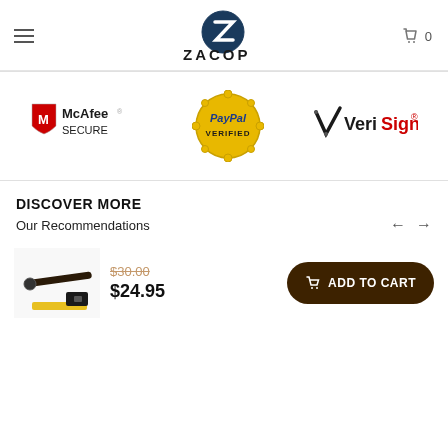[Figure (logo): Zacopo brand logo with stylized Z in blue circle and text ZACOPO below]
[Figure (logo): McAfee SECURE logo with red shield and M icon]
[Figure (logo): PayPal VERIFIED gold seal badge]
[Figure (logo): VeriSign logo with checkmark]
DISCOVER MORE
Our Recommendations
[Figure (photo): Product image of an accessory item (dark rod/arm with hardware)]
$30.00 (strikethrough) $24.95
ADD TO CART